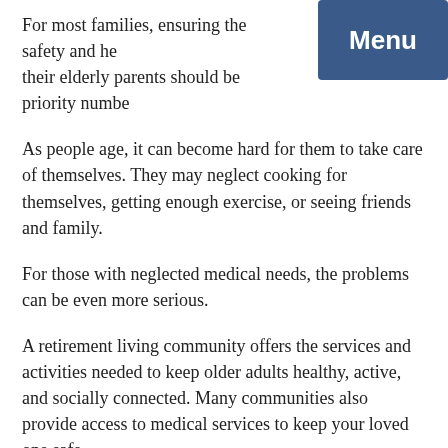For most families, ensuring the safety and health of their elderly parents should be priority number
[Figure (other): Blue menu button with white bold text 'Menu']
As people age, it can become hard for them to take care of themselves. They may neglect cooking for themselves, getting enough exercise, or seeing friends and family.
For those with neglected medical needs, the problems can be even more serious.
A retirement living community offers the services and activities needed to keep older adults healthy, active, and socially connected. Many communities also provide access to medical services to keep your loved one safe.
What Do Seniors Want in a Retirement